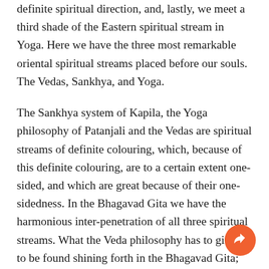definite spiritual direction, and, lastly, we meet a third shade of the Eastern spiritual stream in Yoga. Here we have the three most remarkable oriental spiritual streams placed before our souls. The Vedas, Sankhya, and Yoga.
The Sankhya system of Kapila, the Yoga philosophy of Patanjali and the Vedas are spiritual streams of definite colouring, which, because of this definite colouring, are to a certain extent one-sided, and which are great because of their one-sidedness. In the Bhagavad Gita we have the harmonious inter-penetration of all three spiritual streams. What the Veda philosophy has to give is to be found shining forth in the Bhagavad Gita; what the Yoga of Patanjali has to give mankind we find again in the Bhagavad Gita; and what the Sankhya of Kapila has to give we find there too. Moreover, we do not find these as a conglomeration, but as three parts flowing harmoniously into one organism, as if they originally belonged together. The content of the Bhagavad Gita